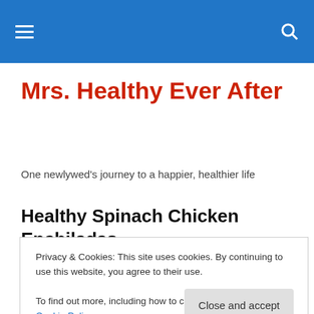Mrs. Healthy Ever After — navigation header
Mrs. Healthy Ever After
One newlywed's journey to a happier, healthier life
Healthy Spinach Chicken Enchiladas
The other day I really wanted to experiment with Chicken
Privacy & Cookies: This site uses cookies. By continuing to use this website, you agree to their use.
To find out more, including how to control cookies, see here: Cookie Policy
Like seriously, you could barely tell there was super